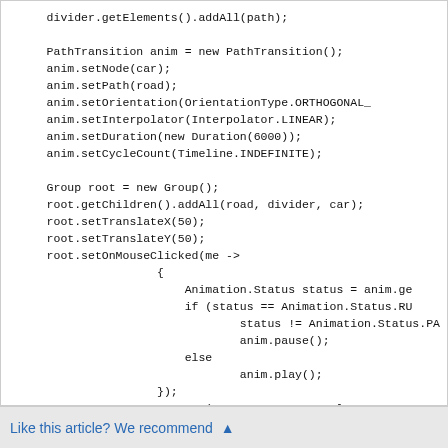divider.getElements().addAll(path);

PathTransition anim = new PathTransition();
anim.setNode(car);
anim.setPath(road);
anim.setOrientation(OrientationType.ORTHOGONAL_
anim.setInterpolator(Interpolator.LINEAR);
anim.setDuration(new Duration(6000));
anim.setCycleCount(Timeline.INDEFINITE);

Group root = new Group();
root.getChildren().addAll(road, divider, car);
root.setTranslateX(50);
root.setTranslateY(50);
root.setOnMouseClicked(me ->
                {
                    Animation.Status status = anim.ge
                    if (status == Animation.Status.RU
                            status != Animation.Status.PA
                            anim.pause();
                    else
                            anim.play();
                });
Scene scene = new Scene(root, 500, 500, Color.D

primaryStage.setTitle("PathTransition Demo");
primaryStage.setScene(scene);
primaryStage.show();
}
Like this article? We recommend